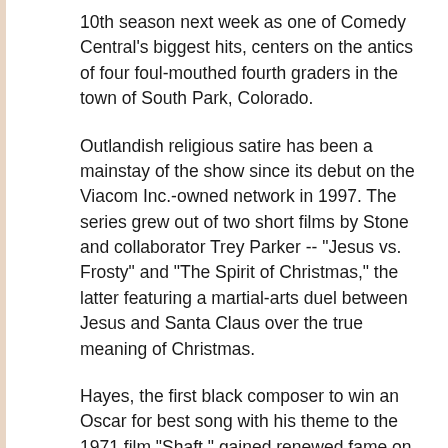10th season next week as one of Comedy Central's biggest hits, centers on the antics of four foul-mouthed fourth graders in the town of South Park, Colorado.
Outlandish religious satire has been a mainstay of the show since its debut on the Viacom Inc.-owned network in 1997. The series grew out of two short films by Stone and collaborator Trey Parker -- "Jesus vs. Frosty" and "The Spirit of Christmas," the latter featuring a martial-arts duel between Jesus and Santa Claus over the true meaning of Christmas.
Hayes, the first black composer to win an Oscar for best song with his theme to the 1971 film "Shaft," gained renewed fame on "South Park" as the voice of Jerome "Chef" McElroy, the school cafeteria cook whom the boys often seek out for advice